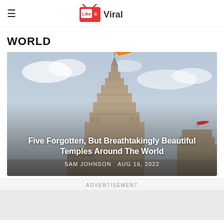≡  LikeitViral
WORLD
[Figure (photo): Hindu temple with orange flag flying from spire, cloudy sky background, intricate stone carved architecture of an Indian temple complex]
Five Forgotten, But Breathtakingly Beautiful Temples Around The World
SAM JOHNSON  AUG 16, 2022
ADVERTISEMENT